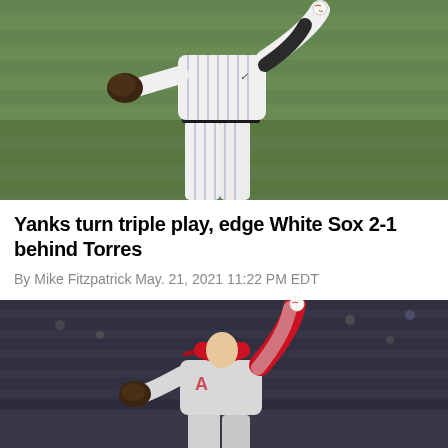[Figure (photo): Baseball pitcher in New York Yankees white pinstripe uniform mid-delivery on green grass field background]
Yanks turn triple play, edge White Sox 2-1 behind Torres
By Mike Fitzpatrick May. 21, 2021 11:22 PM EDT
[Figure (photo): Baseball pitcher in Los Angeles Angels red cap and gray uniform winding up to throw, stadium seats visible in background]